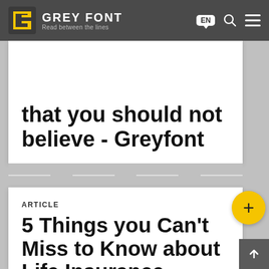GREY FONT — Read between the lines
insurance myths that you should not believe - Greyfont
ARTICLE
5 Things you Can't Miss to Know about Life Insurance Policy - Greyfont